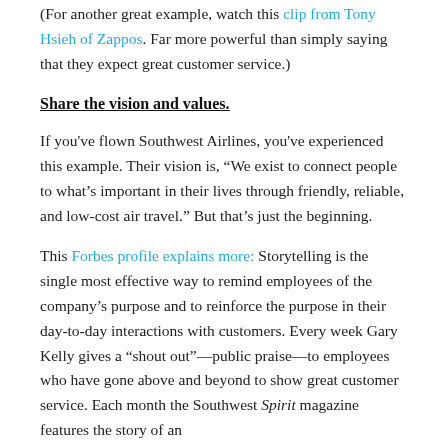(For another great example, watch this clip from Tony Hsieh of Zappos. Far more powerful than simply saying that they expect great customer service.)
Share the vision and values.
If you've flown Southwest Airlines, you've experienced this example. Their vision is, “We exist to connect people to what’s important in their lives through friendly, reliable, and low-cost air travel.” But that’s just the beginning.
This Forbes profile explains more: Storytelling is the single most effective way to remind employees of the company’s purpose and to reinforce the purpose in their day-to-day interactions with customers. Every week Gary Kelly gives a “shout out”—public praise—to employees who have gone above and beyond to show great customer service. Each month the Southwest Spirit magazine features the story of an